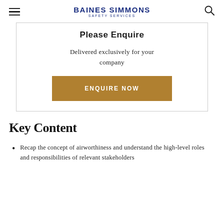BAINES SIMMONS SAFETY SERVICES
Please Enquire
Delivered exclusively for your company
ENQUIRE NOW
Key Content
Recap the concept of airworthiness and understand the high-level roles and responsibilities of relevant stakeholders